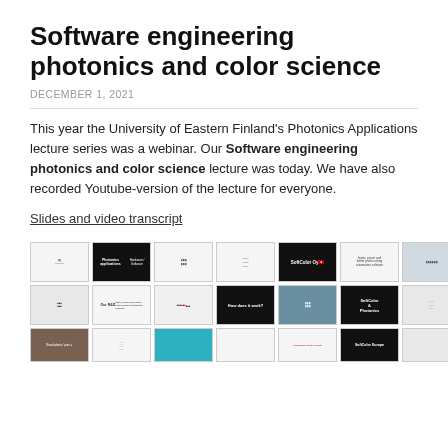Software engineering photonics and color science
DECEMBER 1, 2021
This year the University of Eastern Finland's Photonics Applications lecture series was a webinar. Our Software engineering photonics and color science lecture was today. We have also recorded Youtube-version of the lecture for everyone.
Slides and video transcript
[Figure (screenshot): Grid of lecture slide thumbnails showing various slides from the Software engineering photonics and color science webinar, including title slides, dark-background photonics slides, SoftColor Oy branding, R&D slides, and photo quality slides.]